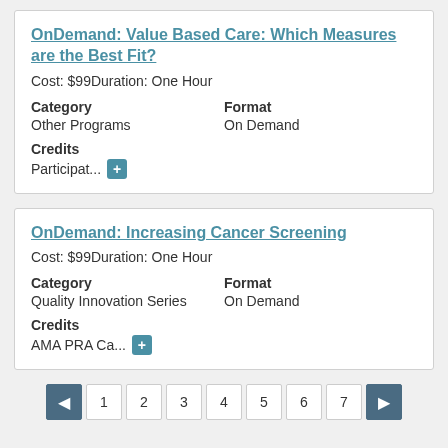OnDemand: Value Based Care: Which Measures are the Best Fit?
Cost: $99Duration: One Hour
Category: Other Programs | Format: On Demand | Credits: Participat... +
OnDemand: Increasing Cancer Screening
Cost: $99Duration: One Hour
Category: Quality Innovation Series | Format: On Demand | Credits: AMA PRA Ca... +
Pagination: < 1 2 3 4 5 6 7 >